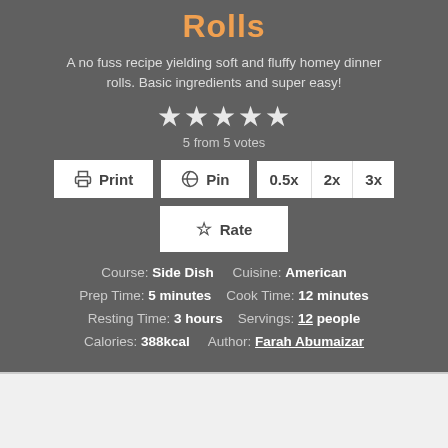Rolls
A no fuss recipe yielding soft and fluffy homey dinner rolls. Basic ingredients and super easy!
5 from 5 votes
Print | Pin | 0.5x | 2x | 3x | Rate
Course: Side Dish    Cuisine: American
Prep Time: 5 minutes    Cook Time: 12 minutes
Resting Time: 3 hours    Servings: 12 people
Calories: 388kcal    Author: Farah Abumaizar